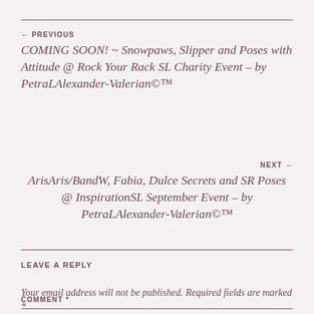← PREVIOUS
COMING SOON! ~ Snowpaws, Slipper and Poses with Attitude @ Rock Your Rack SL Charity Event – by PetraLAlexander-Valerian©™
NEXT →
ArisAris/BandW, Fabia, Dulce Secrets and SR Poses @ InspirationSL September Event – by PetraLAlexander-Valerian©™
LEAVE A REPLY
Your email address will not be published. Required fields are marked *
COMMENT *